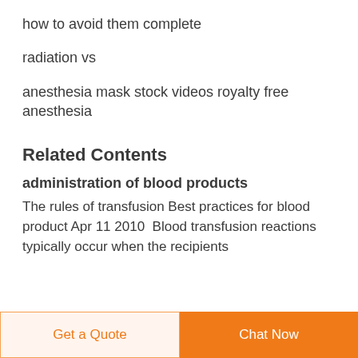how to avoid them complete
radiation vs
anesthesia mask stock videos royalty free anesthesia
Related Contents
administration of blood products
The rules of transfusion Best practices for blood product Apr 11 2010  Blood transfusion reactions typically occur when the recipients
Get a Quote | Chat Now